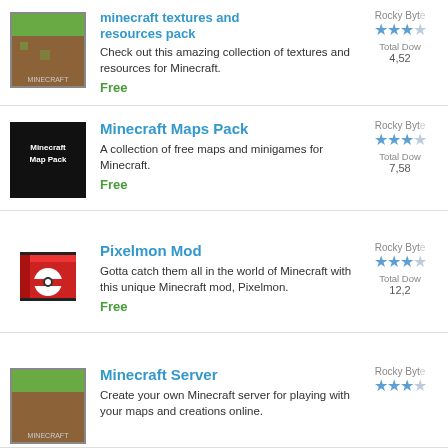[Figure (screenshot): App listing screenshot of Minecraft textures and resources pack, Minecraft Maps Pack, Pixelmon Mod, and Minecraft Server apps]
minecraft textures and resources pack
Check out this amazing collection of textures and resources for Minecraft.
Free
Rocky Byte
Total Dow
4,52
Minecraft Maps Pack
A collection of free maps and minigames for Minecraft.
Free
Rocky Byte
Total Dow
7,58
Pixelmon Mod
Gotta catch them all in the world of Minecraft with this unique Minecraft mod, Pixelmon.
Free
Rocky Byte
Total Dow
12,2
Minecraft Server
Create your own Minecraft server for playing with your maps and creations online.
Rocky Byte